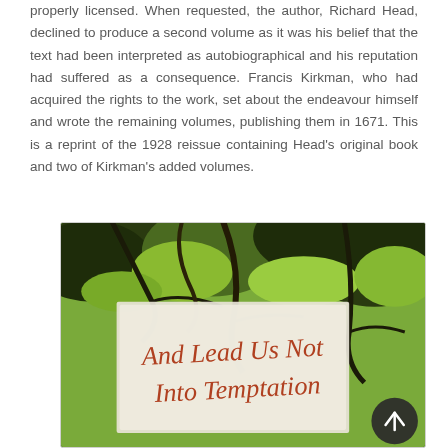properly licensed. When requested, the author, Richard Head, declined to produce a second volume as it was his belief that the text had been interpreted as autobiographical and his reputation had suffered as a consequence. Francis Kirkman, who had acquired the rights to the work, set about the endeavour himself and wrote the remaining volumes, publishing them in 1671. This is a reprint of the 1928 reissue containing Head's original book and two of Kirkman's added volumes.
[Figure (photo): Book cover image showing tree canopy in background with a white panel overlay displaying cursive text 'And Lead Us Not Into Temptation'. A dark circular scroll-up button is visible in the bottom right.]